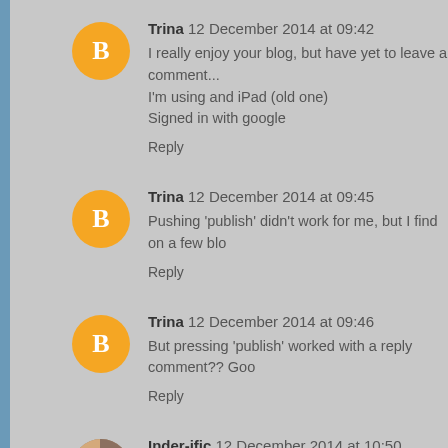Trina 12 December 2014 at 09:42
I really enjoy your blog, but have yet to leave a comment...
I'm using and iPad (old one)
Signed in with google
Reply
Trina 12 December 2014 at 09:45
Pushing 'publish' didn't work for me, but I find on a few blo
Reply
Trina 12 December 2014 at 09:46
But pressing 'publish' worked with a reply comment?? Goo
Reply
Inder-ific 12 December 2014 at 10:50
Commenting from work, Firefox on a PC, Google ID. But I